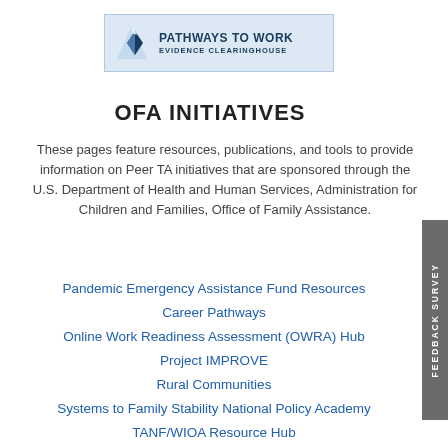[Figure (logo): Pathways to Work Evidence Clearinghouse logo with blue geometric icon and text]
OFA INITIATIVES
These pages feature resources, publications, and tools to provide information on Peer TA initiatives that are sponsored through the U.S. Department of Health and Human Services, Administration for Children and Families, Office of Family Assistance.
Pandemic Emergency Assistance Fund Resources
Career Pathways
Online Work Readiness Assessment (OWRA) Hub
Project IMPROVE
Rural Communities
Systems to Family Stability National Policy Academy
TANF/WIOA Resource Hub
TANF Faith-based and Community Organizations Initiative
TANF Works!